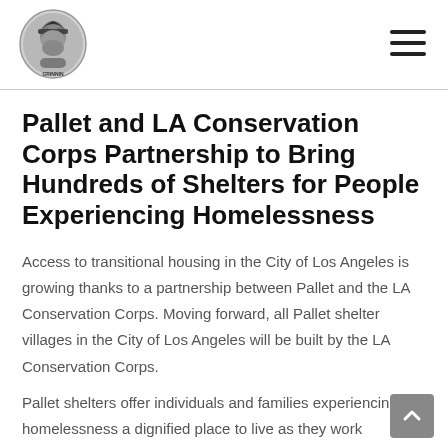[Logo: GRINNIN] [Hamburger menu icon]
Pallet and LA Conservation Corps Partnership to Bring Hundreds of Shelters for People Experiencing Homelessness
Access to transitional housing in the City of Los Angeles is growing thanks to a partnership between Pallet and the LA Conservation Corps. Moving forward, all Pallet shelter villages in the City of Los Angeles will be built by the LA Conservation Corps.
Pallet shelters offer individuals and families experiencing homelessness a dignified place to live as they work